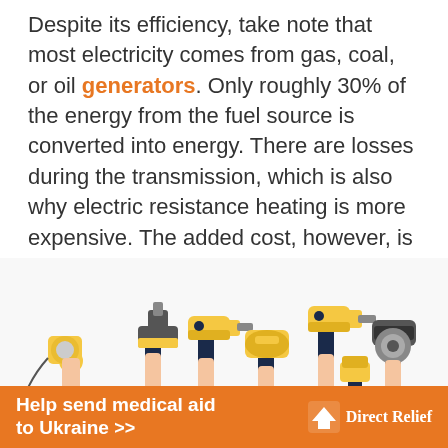Despite its efficiency, take note that most electricity comes from gas, coal, or oil generators. Only roughly 30% of the energy from the fuel source is converted into energy. There are losses during the transmission, which is also why electric resistance heating is more expensive. The added cost, however, is often justifiable.
[Figure (illustration): Illustration of multiple hands holding up various power tools (drills, sanders, saws, nail guns, angle grinders) raised in the air against a white background]
Help send medical aid to Ukraine >>   Direct Relief